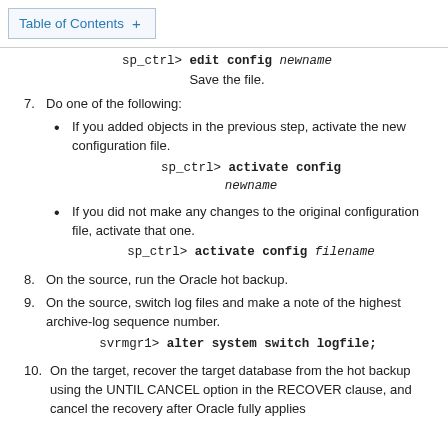Table of Contents +
sp_ctrl> edit config newname
Save the file.
7. Do one of the following:
If you added objects in the previous step, activate the new configuration file.
sp_ctrl> activate config newname
If you did not make any changes to the original configuration file, activate that one.
sp_ctrl> activate config filename
8. On the source, run the Oracle hot backup.
9. On the source, switch log files and make a note of the highest archive-log sequence number.
svrmgr1> alter system switch logfile;
10. On the target, recover the target database from the hot backup using the UNTIL CANCEL option in the RECOVER clause, and cancel the recovery after Oracle fully applies